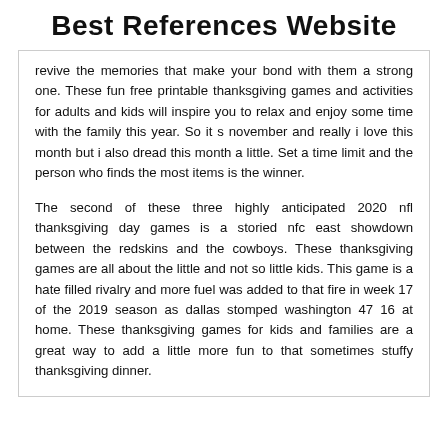Best References Website
revive the memories that make your bond with them a strong one. These fun free printable thanksgiving games and activities for adults and kids will inspire you to relax and enjoy some time with the family this year. So it s november and really i love this month but i also dread this month a little. Set a time limit and the person who finds the most items is the winner.
The second of these three highly anticipated 2020 nfl thanksgiving day games is a storied nfc east showdown between the redskins and the cowboys. These thanksgiving games are all about the little and not so little kids. This game is a hate filled rivalry and more fuel was added to that fire in week 17 of the 2019 season as dallas stomped washington 47 16 at home. These thanksgiving games for kids and families are a great way to add a little more fun to that sometimes stuffy thanksgiving dinner.